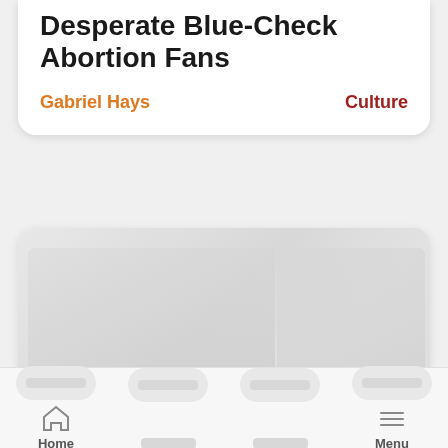Desperate Blue-Check Abortion Fans
Gabriel Hays
Culture
[Figure (photo): Blurred/faded news screenshot image, likely from MSNBC, with watermark visible in bottom right corner]
Home   Menu